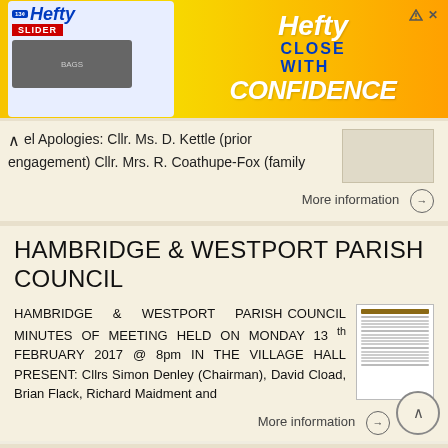[Figure (illustration): Hefty Slider Bags advertisement banner with yellow/orange gradient background, Hefty logo on left with product image, and 'Hefty CLOSE WITH CONFIDENCE' text on right]
el Apologies: Cllr. Ms. D. Kettle (prior engagement) Cllr. Mrs. R. Coathupe-Fox (family
More information →
HAMBRIDGE & WESTPORT PARISH COUNCIL
HAMBRIDGE & WESTPORT PARISH COUNCIL MINUTES OF MEETING HELD ON MONDAY 13 th FEBRUARY 2017 @ 8pm IN THE VILLAGE HALL PRESENT: Cllrs Simon Denley (Chairman), David Cload, Brian Flack, Richard Maidment and
More information →